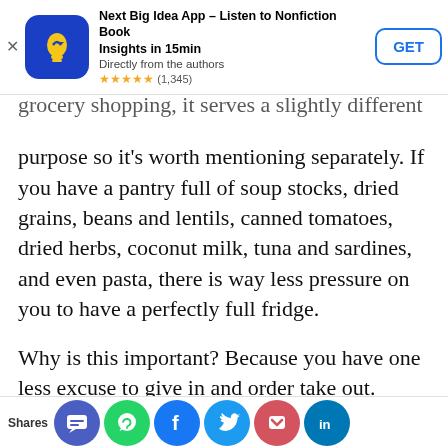[Figure (screenshot): App store advertisement banner for 'Next Big Idea App – Listen to Nonfiction Book Insights in 15min', with blue icon, star rating (1,345) and GET button]
grocery shopping, it serves a slightly different purpose so it's worth mentioning separately. If you have a pantry full of soup stocks, dried grains, beans and lentils, canned tomatoes, dried herbs, coconut milk, tuna and sardines, and even pasta, there is way less pressure on you to have a perfectly full fridge.
Why is this important? Because you have one less excuse to give in and order take out.
If the only fresh item you have is an onion, a
Shares [social icons: SMS, WhatsApp, Facebook, Twitter, Pocket, LinkedIn]